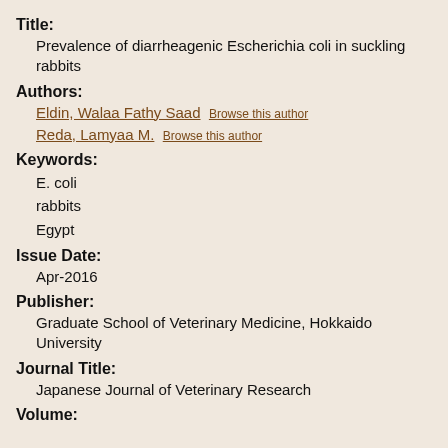Title:
Prevalence of diarrheagenic Escherichia coli in suckling rabbits
Authors:
Eldin, Walaa Fathy Saad Browse this author
Reda, Lamyaa M. Browse this author
Keywords:
E. coli
rabbits
Egypt
Issue Date:
Apr-2016
Publisher:
Graduate School of Veterinary Medicine, Hokkaido University
Journal Title:
Japanese Journal of Veterinary Research
Volume: